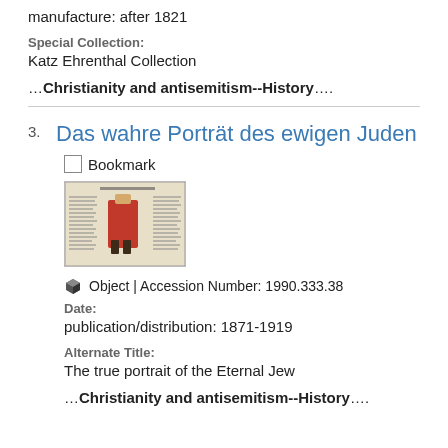manufacture: after 1821
Special Collection:
Katz Ehrenthal Collection
…Christianity and antisemitism--History….
3.
Das wahre Porträt des ewigen Juden
Bookmark
[Figure (photo): Thumbnail image of a broadsheet or print titled 'Das wahre Porträt des ewigen Juden' showing a central figure in red and dark clothing with text columns on left and right sides.]
Object | Accession Number: 1990.333.38
Date:
publication/distribution: 1871-1919
Alternate Title:
The true portrait of the Eternal Jew
…Christianity and antisemitism--History….